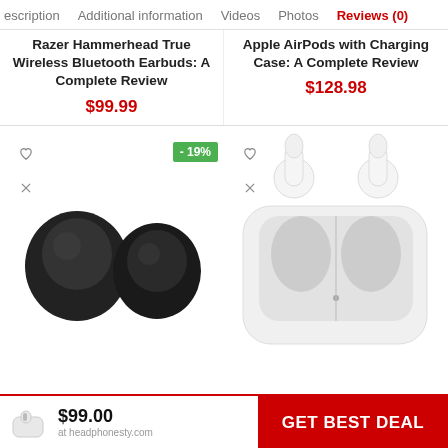escription  Additional information  Videos  Photos  Reviews (0)
Razer Hammerhead True Wireless Bluetooth Earbuds: A Complete Review
$99.99
Apple AirPods with Charging Case: A Complete Review
$128.98
[Figure (photo): Black wireless earbuds (Razer Hammerhead True Wireless) shown as a pair, with a -19% discount badge]
[Figure (photo): White Apple AirPods with open charging case]
$99.00
GET BEST DEAL